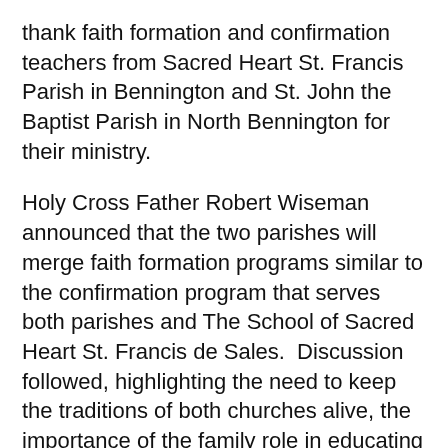thank faith formation and confirmation teachers from Sacred Heart St. Francis Parish in Bennington and St. John the Baptist Parish in North Bennington for their ministry.
Holy Cross Father Robert Wiseman announced that the two parishes will merge faith formation programs similar to the confirmation program that serves both parishes and The School of Sacred Heart St. Francis de Sales.  Discussion followed, highlighting the need to keep the traditions of both churches alive, the importance of the family role in educating the children in their faith and building the connection between the parishes and the school.
In addition to thanking all the catechists for their ministry, a special thank you was given to Luisa Millington who has served as Parish Catechetical leader at St. John for the past eighteen